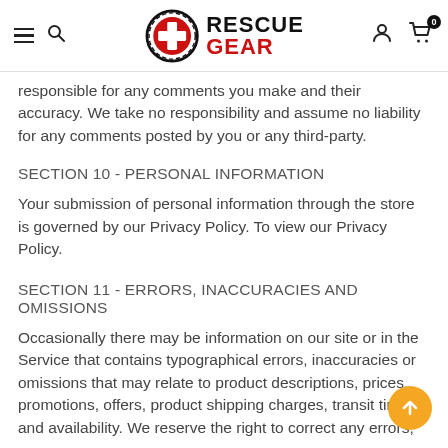Rescue Gear - navigation header with logo, hamburger menu, search, user account, and cart icons
responsible for any comments you make and their accuracy. We take no responsibility and assume no liability for any comments posted by you or any third-party.
SECTION 10 - PERSONAL INFORMATION
Your submission of personal information through the store is governed by our Privacy Policy. To view our Privacy Policy.
SECTION 11 - ERRORS, INACCURACIES AND OMISSIONS
Occasionally there may be information on our site or in the Service that contains typographical errors, inaccuracies or omissions that may relate to product descriptions, prices, promotions, offers, product shipping charges, transit times and availability. We reserve the right to correct any errors,